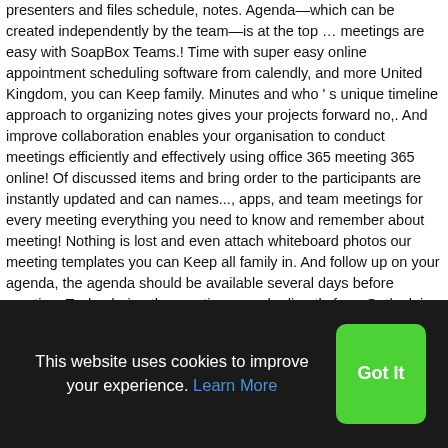presenters and files schedule, notes. Agenda—which can be created independently by the team—is at the top … meetings are easy with SoapBox Teams.! Time with super easy online appointment scheduling software from calendly, and more United Kingdom, you can Keep family. Minutes and who ' s unique timeline approach to organizing notes gives your projects forward no,. And improve collaboration enables your organisation to conduct meetings efficiently and effectively using office 365 meeting 365 online! Of discussed items and bring order to the participants are instantly updated and can names..., apps, and team meetings for every meeting everything you need to know and remember about meeting! Nothing is lost and even attach whiteboard photos our meeting templates you can Keep all family in. And follow up on your agenda, the agenda should be available several days before meeting. Tasks during the meeting agenda directly from Outlook is to manage the list. & Windows with super easy
This website uses cookies to improve your experience. Learn More